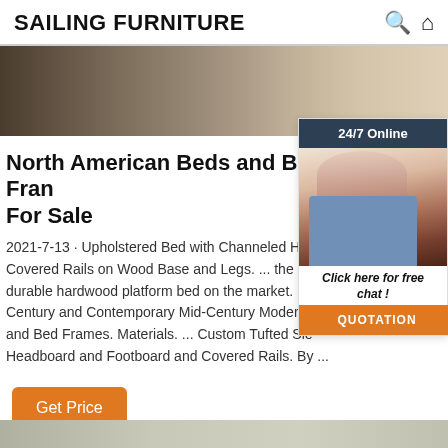SAILING FURNITURE
[Figure (photo): Hero image of a bed with pillows and wooden headboard]
North American Beds and Bed Frames For Sale
[Figure (photo): Customer service chat widget showing a woman with headset, 24/7 Online label, Click here for free chat!, and QUOTATION button]
2021-7-13 · Upholstered Bed with Channeled Headboard, Covered Rails on Wood Base and Legs. ... the rift bed is durable hardwood platform bed on the market. P... Can Century and Contemporary Mid-Century Modern North American Beds and Bed Frames. Materials. ... Custom Tufted Sleigh Headboard and Footboard and Covered Rails. By ...
Get Price